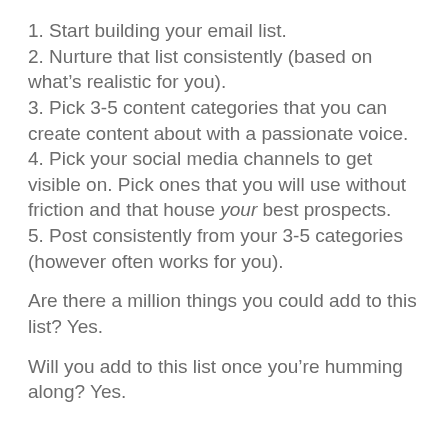1. Start building your email list.
2. Nurture that list consistently (based on what's realistic for you).
3. Pick 3-5 content categories that you can create content about with a passionate voice.
4. Pick your social media channels to get visible on. Pick ones that you will use without friction and that house your best prospects.
5. Post consistently from your 3-5 categories (however often works for you).
Are there a million things you could add to this list? Yes.
Will you add to this list once you’re humming along? Yes.